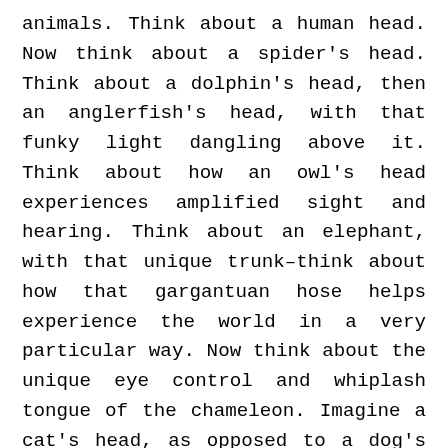animals. Think about a human head. Now think about a spider's head. Think about a dolphin's head, then an anglerfish's head, with that funky light dangling above it. Think about how an owl's head experiences amplified sight and hearing. Think about an elephant, with that unique trunk–think about how that gargantuan hose helps experience the world in a very particular way. Now think about the unique eye control and whiplash tongue of the chameleon. Imagine a cat's head, as opposed to a dog's head. Each of these very different heads all bear modifications of the same kinds of organ arrays: eyes, tongues, ears, mouths, noses. All of them we could think of as different kinds of VR helmets. Each produce a different VR. Each sensor